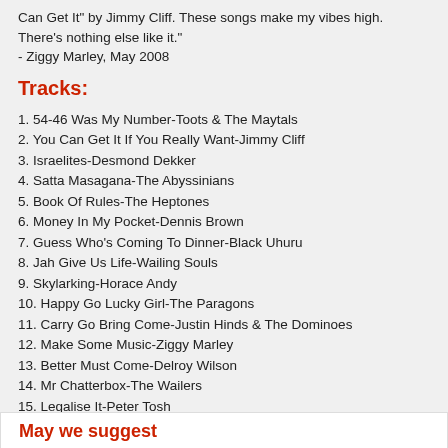Can Get It" by Jimmy Cliff. These songs make my vibes high. There's nothing else like it."
- Ziggy Marley, May 2008
Tracks:
1. 54-46 Was My Number-Toots & The Maytals
2. You Can Get It If You Really Want-Jimmy Cliff
3. Israelites-Desmond Dekker
4. Satta Masagana-The Abyssinians
5. Book Of Rules-The Heptones
6. Money In My Pocket-Dennis Brown
7. Guess Who's Coming To Dinner-Black Uhuru
8. Jah Give Us Life-Wailing Souls
9. Skylarking-Horace Andy
10. Happy Go Lucky Girl-The Paragons
11. Carry Go Bring Come-Justin Hinds & The Dominoes
12. Make Some Music-Ziggy Marley
13. Better Must Come-Delroy Wilson
14. Mr Chatterbox-The Wailers
15. Legalise It-Peter Tosh
16. Poor And Clean-Gregory Isaacs
May we suggest